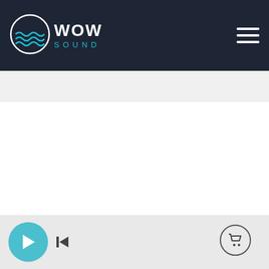WOW SOUND
CATALOG
Single Tracks
Game Audio Packs
Curated Playlists
Free Music & SFX
[Figure (other): Music player bottom bar with play button, skip button, and cart icon]